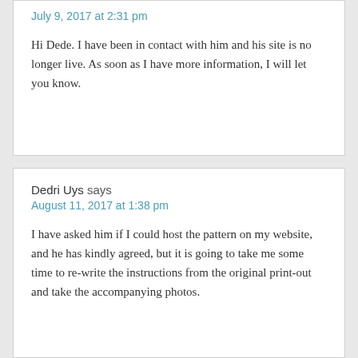July 9, 2017 at 2:31 pm
Hi Dede. I have been in contact with him and his site is no longer live. As soon as I have more information, I will let you know.
Dedri Uys says
August 11, 2017 at 1:38 pm
I have asked him if I could host the pattern on my website, and he has kindly agreed, but it is going to take me some time to re-write the instructions from the original print-out and take the accompanying photos.